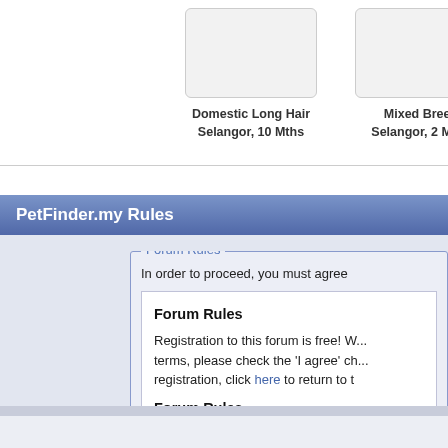Domestic Long Hair
Selangor, 10 Mths
Mixed Breed
Selangor, 2 Mths
PetFinder.my Rules
Forum Rules
In order to proceed, you must agree
Forum Rules
Registration to this forum is free! W... terms, please check the 'I agree' ch... registration, click here to return to t
Forum Rules
Please carefully read and review ou
Registration to this forum is free! W... terms, please check the 'I agree' ch... registration, click here to return to t
Although the administrators and mo
I have read, and agree to abide